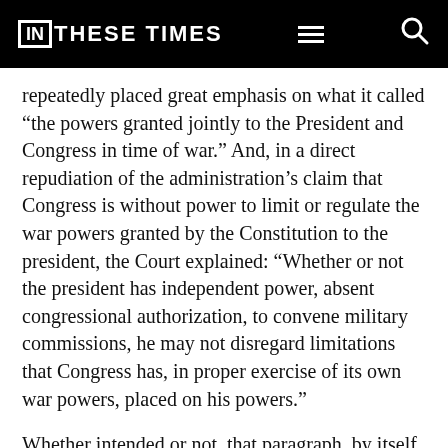IN THESE TIMES
repeatedly placed great emphasis on what it called “the powers granted jointly to the President and Congress in time of war.” And, in a direct repudiation of the administration’s claim that Congress is without power to limit or regulate the war powers granted by the Constitution to the president, the Court explained: “Whether or not the president has independent power, absent congressional authorization, to convene military commissions, he may not disregard limitations that Congress has, in proper exercise of its own war powers, placed on his powers.”
Whether intended or not, that paragraph, by itself, dispenses with the central misconception–the myth–